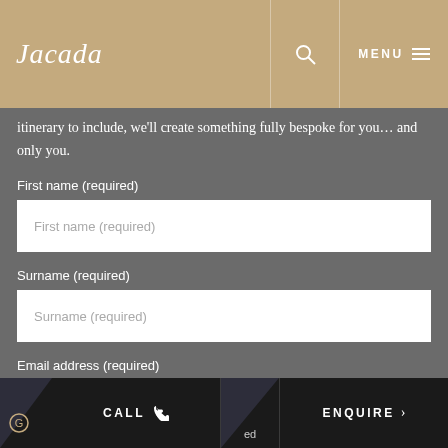Jacada | MENU
itinerary to include, we'll create something fully bespoke for you… and only you.
First name (required)
First name (required)
Surname (required)
Surname (required)
Email address (required)
Email address (required)
CALL | ENQUIRE